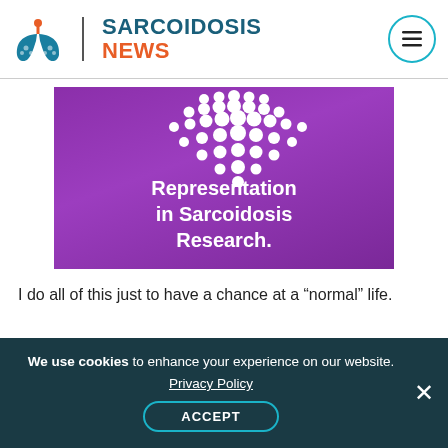SARCOIDOSIS NEWS
[Figure (illustration): Purple banner with white dots arranged in a heart shape at the top, and bold white text reading 'Representation in Sarcoidosis Research.']
I do all of this just to have a chance at a “normal” life.
We use cookies to enhance your experience on our website. Privacy Policy ACCEPT